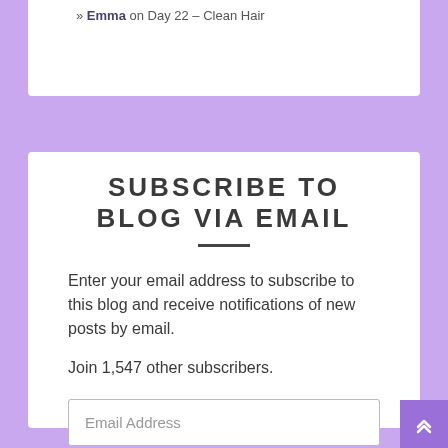» Emma on Day 22 – Clean Hair
SUBSCRIBE TO BLOG VIA EMAIL
Enter your email address to subscribe to this blog and receive notifications of new posts by email.
Join 1,547 other subscribers.
Email Address
Subscribe